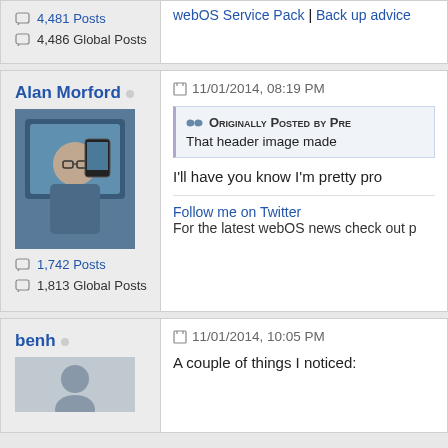webOS Service Pack | Back up advice
4,481 Posts
4,486 Global Posts
Alan Morford
11/01/2014, 08:19 PM
Originally Posted by Pre...
That header image made
I'll have you know I'm pretty pro
1,742 Posts
1,813 Global Posts
Follow me on Twitter
For the latest webOS news check out p
benh
11/01/2014, 10:05 PM
A couple of things I noticed: